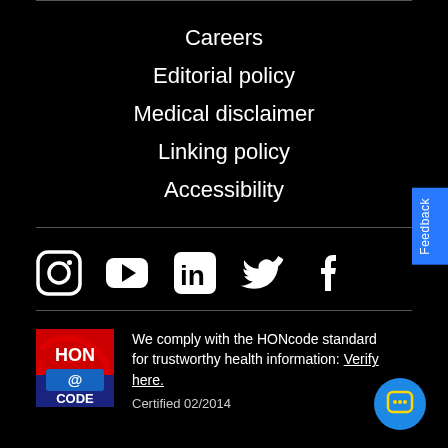Careers
Editorial policy
Medical disclaimer
Linking policy
Accessibility
[Figure (illustration): Social media icons row: Instagram, YouTube, LinkedIn, Twitter, Facebook — white on black background]
[Figure (logo): HONcode badge logo with red/blue design and '@' symbol]
We comply with the HONcode standard for trustworthy health information: Verify here.
Certified 02/2014